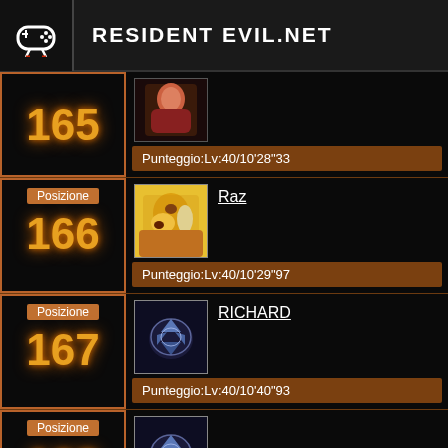RESIDENT EVIL.NET
| Posizione | Avatar | Username | Punteggio |
| --- | --- | --- | --- |
| 165 |  |  | Punteggio:Lv:40/10'28"33 |
| 166 |  | Raz | Punteggio:Lv:40/10'29"97 |
| 167 |  | RICHARD | Punteggio:Lv:40/10'40"93 |
| 168 |  |  | Punteggio: - |